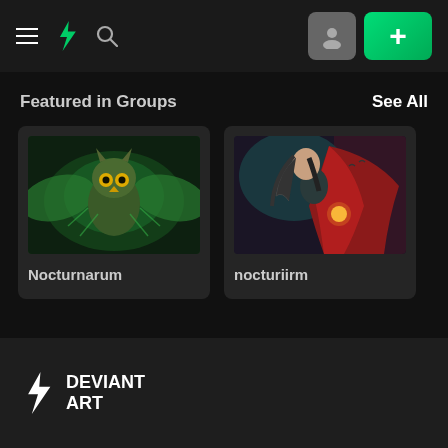DeviantArt navigation header with menu, logo, search, profile and plus button
Featured in Groups
See All
[Figure (illustration): Dark fantasy illustration of a large owl-like creature with spread wings in green glowing tones — card titled Nocturnarum]
Nocturnarum
[Figure (illustration): Dark fantasy illustration of a cloaked woman with flowing cape holding a glowing orb against dark teal background — card titled nocturiirm]
nocturiirm
DeviantArt logo — lightning bolt icon with DEVIANT ART text